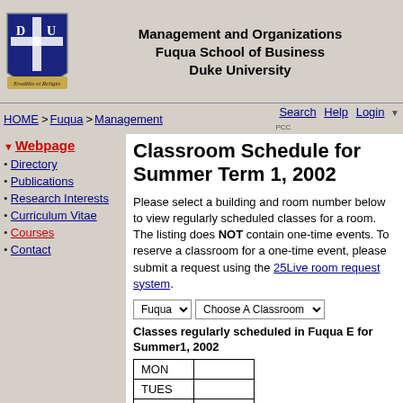Management and Organizations
Fuqua School of Business
Duke University
HOME > Fuqua > Management   Search Help Login
Classroom Schedule for Summer Term 1, 2002
Webpage
Directory
Publications
Research Interests
Curriculum Vitae
Courses
Contact
Please select a building and room number below to view regularly scheduled classes for a room. The listing does NOT contain one-time events. To reserve a classroom for a one-time event, please submit a request using the 25Live room request system.
Classes regularly scheduled in Fuqua E for Summer1, 2002
| Day |
| --- |
| MON |
| TUES |
| WED |